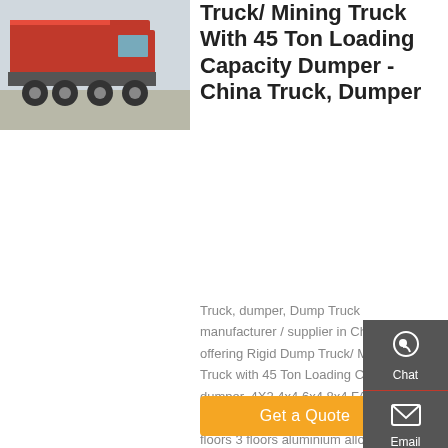[Figure (photo): Red/orange mining dump truck parked on concrete surface, side/front view]
Truck/ Mining Truck With 45 Ton Loading Capacity Dumper - China Truck, Dumper
Truck, dumper, Dump Truck manufacturer / supplier in China, offering Rigid Dump Truck/ Mining Truck with 45 Ton Loading Capacity dumper, 4X2 4x4 6x4 8x4 FAW Fuel oil transport tank truck tanker truck, 2 floors 3 floors aluminium alloy deck live pig hog goat
Get a Quote